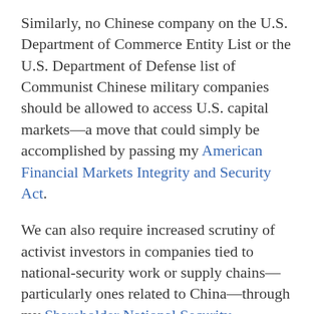Similarly, no Chinese company on the U.S. Department of Commerce Entity List or the U.S. Department of Defense list of Communist Chinese military companies should be allowed to access U.S. capital markets—a move that could simply be accomplished by passing my American Financial Markets Integrity and Security Act.
We can also require increased scrutiny of activist investors in companies tied to national-security work or supply chains—particularly ones related to China—through my Shareholder National Security Awareness Act. Finally, we must ensure that Chinese companies, the only ones in the world that routinely skirt U.S. regulatory oversight, are no longer welcome to publicly list on U.S. stock exchanges.
Americans from across the political spectrum should feel emboldened by the growing bipartisan awakening to the